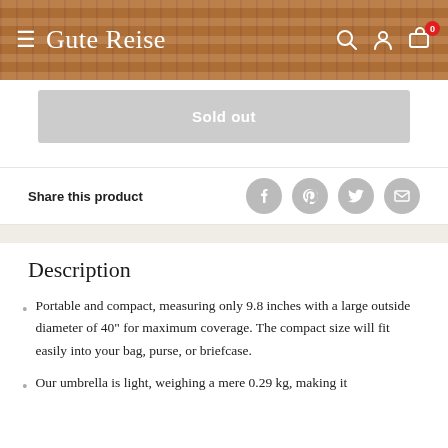Gute Reise
Sold out
Share this product
Description
Portable and compact, measuring only 9.8 inches with a large outside diameter of 40" for maximum coverage. The compact size will fit easily into your bag, purse, or briefcase.
Our umbrella is light, weighing a mere 0.29 kg, making it